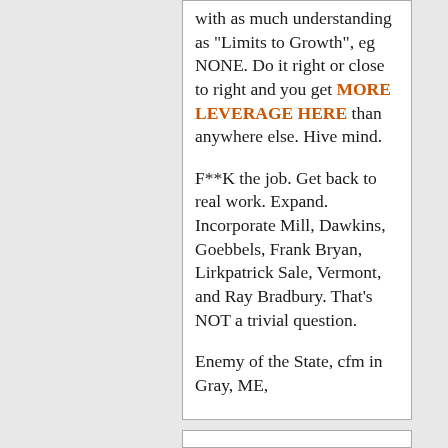with as much understanding as "Limits to Growth", eg NONE. Do it right or close to right and you get MORE LEVERAGE HERE than anywhere else. Hive mind.

F**K the job. Get back to real work. Expand. Incorporate Mill, Dawkins, Goebbels, Frank Bryan, Lirkpatrick Sale, Vermont, and Ray Bradbury. That's NOT a trivial question.

Enemy of the State, cfm in Gray, ME,